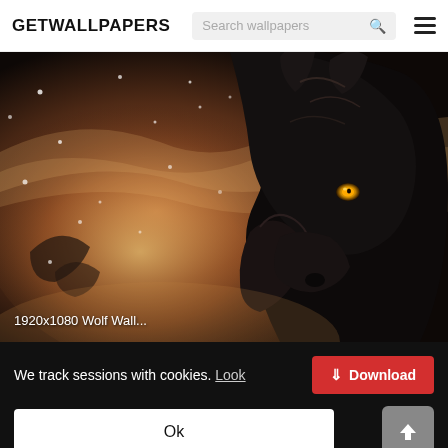GETWALLPAPERS
[Figure (screenshot): Search bar with placeholder text 'Search wallpapers' and a magnifying glass icon, plus a hamburger menu icon on the right]
[Figure (illustration): Digital fantasy artwork of a large black wolf with glowing amber eye, surrounded by swirling snow and atmospheric light, with smaller wolves in the background]
1920x1080 Wolf Wall...
We track sessions with cookies. Look
[Figure (screenshot): Red Download button with downward arrow icon]
[Figure (screenshot): White Ok button]
[Figure (screenshot): Gray scroll-to-top button with upward chevron arrow]